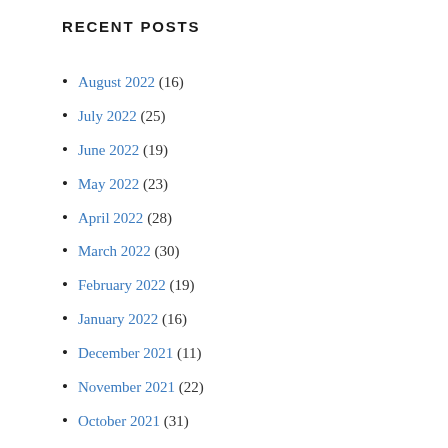RECENT POSTS
August 2022 (16)
July 2022 (25)
June 2022 (19)
May 2022 (23)
April 2022 (28)
March 2022 (30)
February 2022 (19)
January 2022 (16)
December 2021 (11)
November 2021 (22)
October 2021 (31)
September 2021 (30)
August 2021 (31)
July 2021 (31)